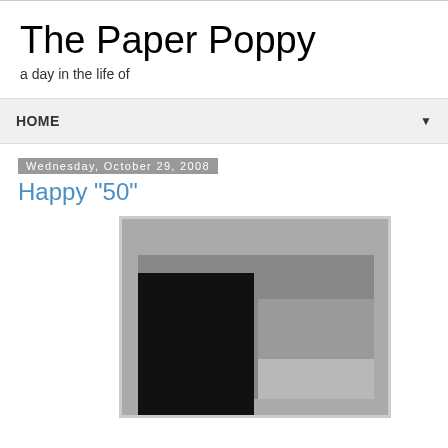The Paper Poppy
a day in the life of
HOME ▼
Wednesday, October 29, 2008
Happy "50"
[Figure (illustration): Abstract geometric artwork with nested rectangles in shades of gray and black, reminiscent of Josef Albers style composition.]